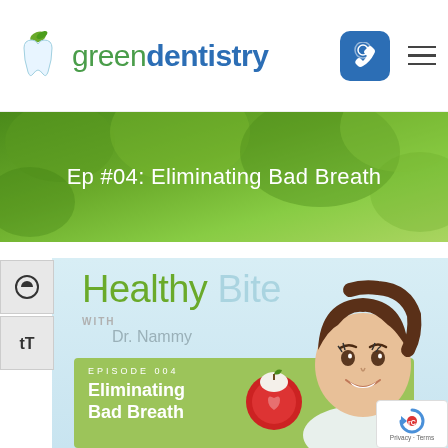[Figure (logo): Green Dentistry logo with tooth icon, green apple leaf, and blue phone button]
[Figure (photo): Green leaves background hero banner with text 'Ep #04: Eliminating Bad Breath' in white]
[Figure (illustration): Healthy Bite with Dr. Nammy podcast artwork featuring episode 004: Eliminating Bad Breath, cartoon doctor, red apple]
[Figure (other): reCAPTCHA badge with Privacy and Terms links]